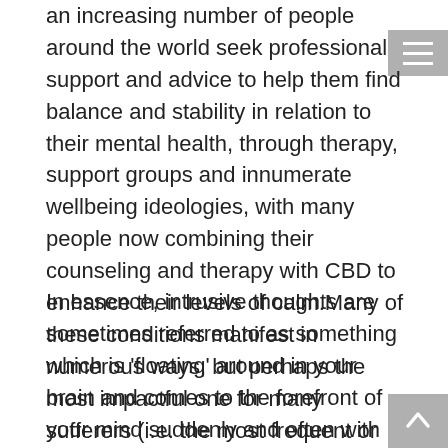an increasing number of people around the world seek professional support and advice to help them find balance and stability in relation to their mental health, through therapy, support groups and innumerate wellbeing ideologies, with many people now combining their counseling and therapy with CBD to enhance their levels of calm.Many of these conditions manifest in numerous ways, but perhaps the most impactful one for many sufferers (i.e. the most frequent or prevalent manifestation) comes in the form of intrusive thoughts which trigger psychological, emotional or physiological responses.
In essence, intrusive thoughts are sometimes referred to as something which is 'floating' around in your brain and comes to the forefront of your mind suddenly and often with no provocation. Depending on the individual and their own experiences, these thoughts can relate to all manner of things but they usually focus on the absolute worst-case